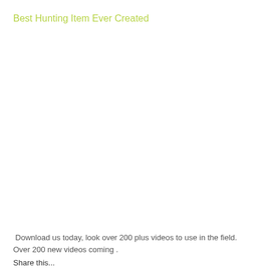Best Hunting Item Ever Created
Download us today, look over 200 plus videos to use in the field. Over 200 new videos coming .
Share this...